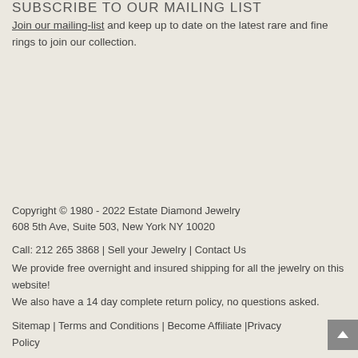SUBSCRIBE TO OUR MAILING LIST
Join our mailing-list and keep up to date on the latest rare and fine rings to join our collection.
Copyright © 1980 - 2022 Estate Diamond Jewelry
608 5th Ave, Suite 503, New York NY 10020

Call: 212 265 3868 | Sell your Jewelry | Contact Us
We provide free overnight and insured shipping for all the jewelry on this website!
We also have a 14 day complete return policy, no questions asked.

Sitemap | Terms and Conditions | Become Affiliate |Privacy Policy